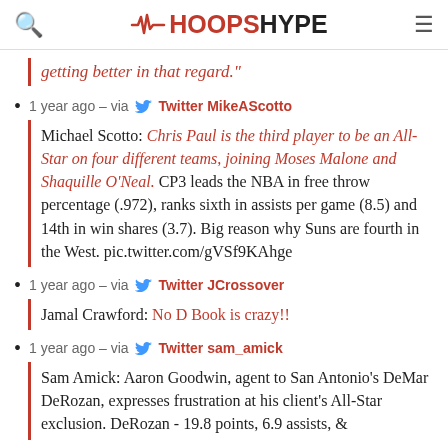HOOPSHYPE
getting better in that regard."
1 year ago – via Twitter MikeAScotto
Michael Scotto: Chris Paul is the third player to be an All-Star on four different teams, joining Moses Malone and Shaquille O'Neal. CP3 leads the NBA in free throw percentage (.972), ranks sixth in assists per game (8.5) and 14th in win shares (3.7). Big reason why Suns are fourth in the West. pic.twitter.com/gVSf9KAhge
1 year ago – via Twitter JCrossover
Jamal Crawford: No D Book is crazy!!
1 year ago – via Twitter sam_amick
Sam Amick: Aaron Goodwin, agent to San Antonio's DeMar DeRozan, expresses frustration at his client's All-Star exclusion. DeRozan - 19.8 points, 6.9 assists, &